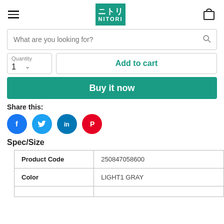NITORI (ニトリ) logo with navigation menu and cart icon
What are you looking for?
Quantity
1
Add to cart
Buy it now
Share this:
[Figure (infographic): Social sharing icons: Facebook (blue), Twitter (light blue), LinkedIn (dark blue), Pinterest (red)]
Spec/Size
|  |  |
| --- | --- |
| Product Code | 250847058600 |
| Color | LIGHT1 GRAY |
|  |  |